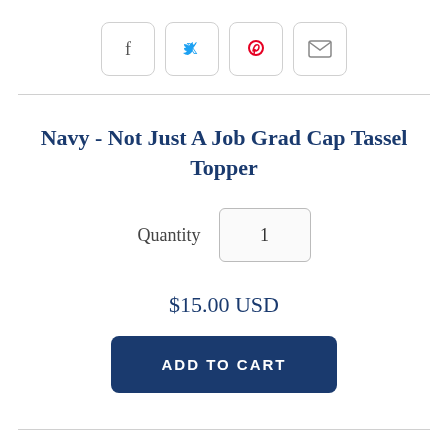[Figure (other): Social share icons: Facebook, Twitter, Pinterest, Email]
Navy - Not Just A Job Grad Cap Tassel Topper
Quantity  1
$15.00 USD
ADD TO CART